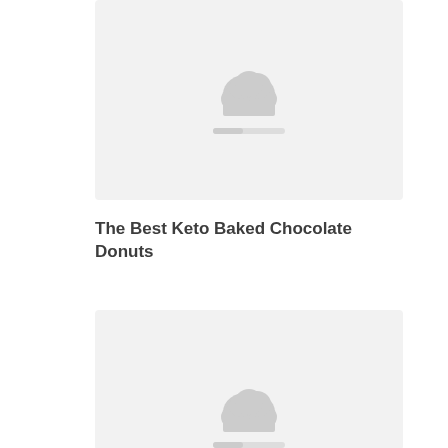[Figure (illustration): Placeholder image with cloud icon and loading bar, light gray background]
The Best Keto Baked Chocolate Donuts
[Figure (illustration): Placeholder image with cloud icon and loading bar, light gray background, partially visible]